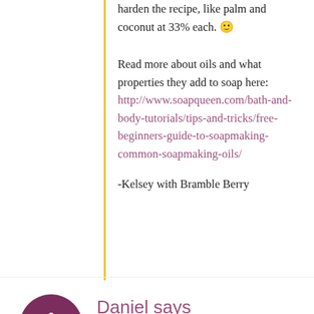harden the recipe, like palm and coconut at 33% each. 🙂
Read more about oils and what properties they add to soap here: http://www.soapqueen.com/bath-and-body-tutorials/tips-and-tricks/free-beginners-guide-to-soapmaking-common-soapmaking-oils/
-Kelsey with Bramble Berry
Daniel says
March 13, 2016 at 10:22 pm
Hello (